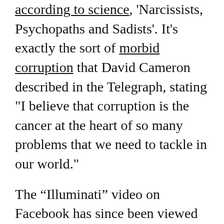according to science, 'Narcissists, Psychopaths and Sadists'. It's exactly the sort of morbid corruption that David Cameron described in the Telegraph, stating "I believe that corruption is the cancer at the heart of so many problems that we need to tackle in our world."
The “Illuminati” video on Facebook has since been viewed over 21 thousand times. This offensive work attempts to seed prejudice, ridicule and confusion regarding independent intelligence assessments of the PM’s remarks, anticipating publication of the new study by nearly twenty-four hours.
That short video portrays what a listener might hear while monitoring the resignation speech via digital audio production methods that mirror-filter recordings. However, “Rangatang” trolls the audience insomuch as the “Illuminati” “secret message” is apparently voiced in the soundtrack by a pro-pedophile clown and not the